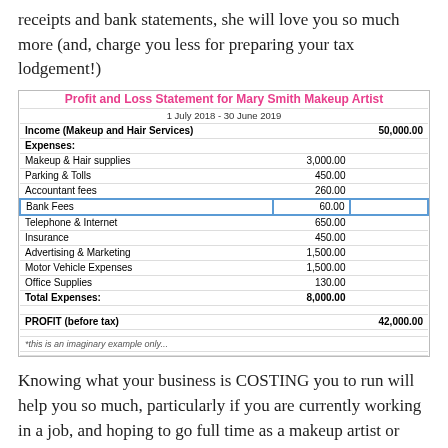receipts and bank statements, she will love you so much more (and, charge you less for preparing your tax lodgement!)
|  |  |  |
| --- | --- | --- |
| Profit and Loss Statement for Mary Smith Makeup Artist |  |  |
| 1 July 2018 - 30 June 2019 |  |  |
| Income (Makeup and Hair Services) |  | 50,000.00 |
| Expenses: |  |  |
| Makeup & Hair supplies | 3,000.00 |  |
| Parking & Tolls | 450.00 |  |
| Accountant fees | 260.00 |  |
| Bank Fees | 60.00 |  |
| Telephone & Internet | 650.00 |  |
| Insurance | 450.00 |  |
| Advertising & Marketing | 1,500.00 |  |
| Motor Vehicle Expenses | 1,500.00 |  |
| Office Supplies | 130.00 |  |
| Total Expenses: | 8,000.00 |  |
| PROFIT (before tax) |  | 42,000.00 |
| *this is an imaginary example only... |  |  |
Knowing what your business is COSTING you to run will help you so much, particularly if you are currently working in a job, and hoping to go full time as a makeup artist or hair stylist.